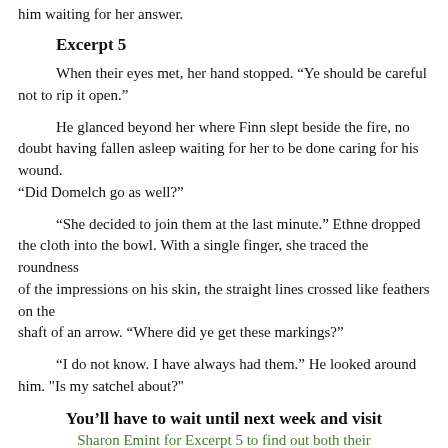him waiting for her answer.
Excerpt 5
When their eyes met, her hand stopped. “Ye should be careful not to rip it open.”
He glanced beyond her where Finn slept beside the fire, no doubt having fallen asleep waiting for her to be done caring for his wound.
“Did Domelch go as well?”
“She decided to join them at the last minute.” Ethne dropped the cloth into the bowl. With a single finger, she traced the roundness
of the impressions on his skin, the straight lines crossed like feathers on the
shaft of an arrow. “Where did ye get these markings?”
“I do not know. I have always had them.” He looked around him. "Is my satchel about?"
You’ll have to wait until next week and visit
Sharon Emint for Excerpt 5 to find out both their